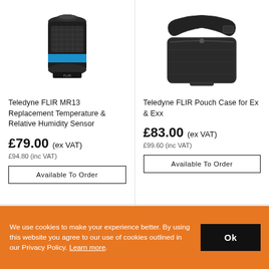[Figure (photo): Teledyne FLIR MR13 replacement sensor – small cylindrical black device with blue band and mesh grill]
Teledyne FLIR MR13 Replacement Temperature & Relative Humidity Sensor
£79.00 (ex VAT)
£94.80 (inc VAT)
Available To Order
More Info >
[Figure (photo): Teledyne FLIR Pouch Case for Ex & Exx – black soft case with shoulder strap]
Teledyne FLIR Pouch Case for Ex & Exx
£83.00 (ex VAT)
£99.60 (inc VAT)
Available To Order
More Info >
We use cookies to make your experience better. By using this website you agree to our use of cookies outlined in our Privacy Policy. Learn more.